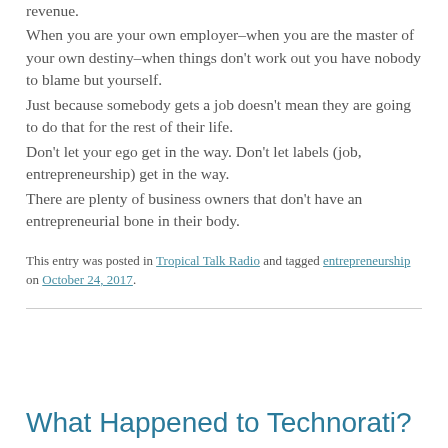revenue.
When you are your own employer–when you are the master of your own destiny–when things don't work out you have nobody to blame but yourself.
Just because somebody gets a job doesn't mean they are going to do that for the rest of their life.
Don't let your ego get in the way. Don't let labels (job, entrepreneurship) get in the way.
There are plenty of business owners that don't have an entrepreneurial bone in their body.
This entry was posted in Tropical Talk Radio and tagged entrepreneurship on October 24, 2017.
What Happened to Technorati?